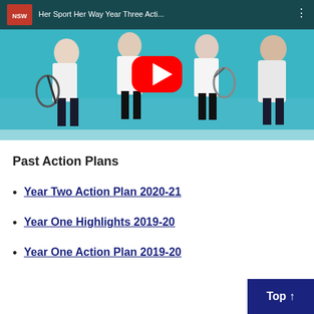[Figure (screenshot): YouTube video thumbnail showing teenage girls with tennis rackets in a teal indoor court setting. NSW government logo in top-left corner. Title reads 'Her Sport Her Way Year Three Acti...' with YouTube play button overlay.]
Past Action Plans
Year Two Action Plan 2020-21
Year One Highlights 2019-20
Year One Action Plan 2019-20